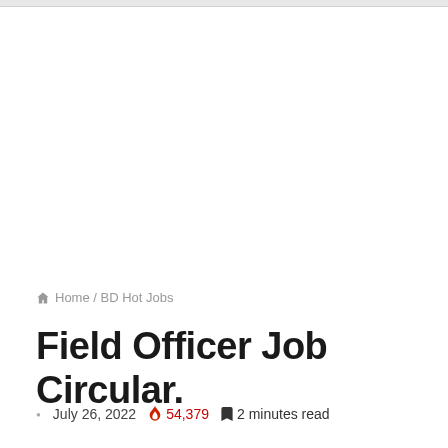Home / BD Hot Jobs
Field Officer Job Circular.
July 26, 2022  54,379  2 minutes read